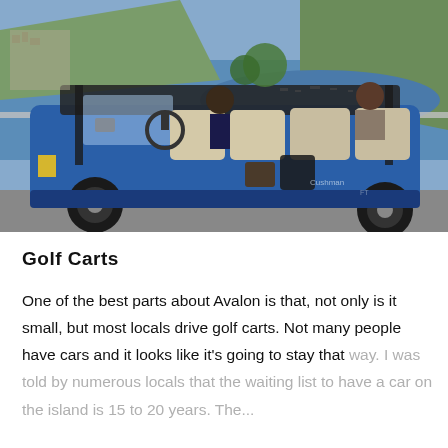[Figure (photo): A blue multi-seat golf cart parked on a road with a scenic overlook behind it showing a harbor with boats, hillside town, trees, and ocean in the background. Two people are seated in the front of the cart.]
Golf Carts
One of the best parts about Avalon is that, not only is it small, but most locals drive golf carts. Not many people have cars and it looks like it's going to stay that way. I was told by numerous locals that the waiting list to have a car on the island is 15 to 20 years. The...